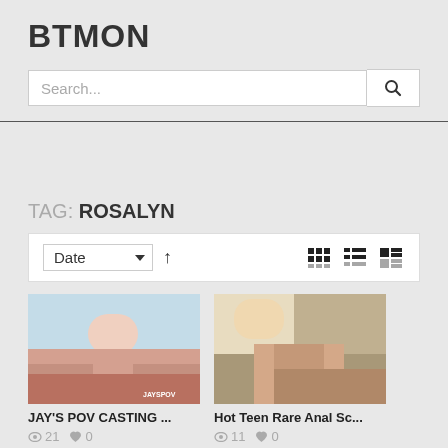BTMON
Search...
TAG: ROSALYN
Date sort, view toggle controls
[Figure (photo): Video thumbnail for JAY'S POV CASTING ...]
JAY'S POV CASTING ...
21 views, 0 likes
[Figure (photo): Video thumbnail for Hot Teen Rare Anal Sc...]
Hot Teen Rare Anal Sc...
11 views, 0 likes
[Figure (photo): Bottom left video thumbnail]
[Figure (photo): Bottom right video thumbnail]